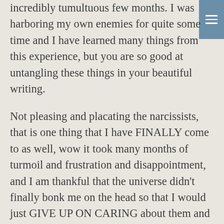incredibly tumultuous few months. I was harboring my own enemies for quite some time and I have learned many things from this experience, but you are so good at untangling these things in your beautiful writing.
Not pleasing and placating the narcissists, that is one thing that I have FINALLY come to as well, wow it took many months of turmoil and frustration and disappointment, and I am thankful that the universe didn't finally bonk me on the head so that I would just GIVE UP ON CARING about them and attend to my own needs.
And it turns out that I have so much to use! Sometimes a lot of what I have